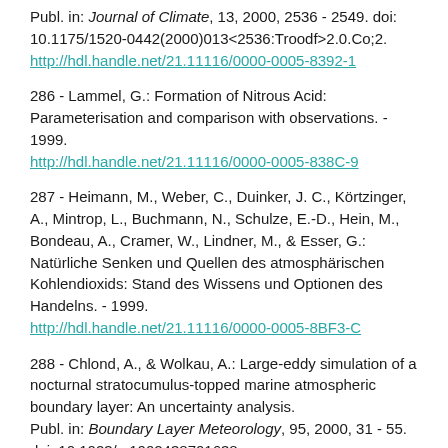Publ. in: Journal of Climate, 13, 2000, 2536 - 2549. doi: 10.1175/1520-0442(2000)013<2536:Troodf>2.0.Co;2.
http://hdl.handle.net/21.11116/0000-0005-8392-1
286 - Lammel, G.: Formation of Nitrous Acid: Parameterisation and comparison with observations. - 1999.
http://hdl.handle.net/21.11116/0000-0005-838C-9
287 - Heimann, M., Weber, C., Duinker, J. C., Körtzinger, A., Mintrop, L., Buchmann, N., Schulze, E.-D., Hein, M., Bondeau, A., Cramer, W., Lindner, M., & Esser, G.: Natürliche Senken und Quellen des atmosphärischen Kohlendioxids: Stand des Wissens und Optionen des Handelns. - 1999.
http://hdl.handle.net/21.11116/0000-0005-8BF3-C
288 - Chlond, A., & Wolkau, A.: Large-eddy simulation of a nocturnal stratocumulus-topped marine atmospheric boundary layer: An uncertainty analysis.
Publ. in: Boundary Layer Meteorology, 95, 2000, 31 - 55. doi: 10.1023/a:1002438701638.
http://hdl.handle.net/21.11116/0000-0005-8ABB-2